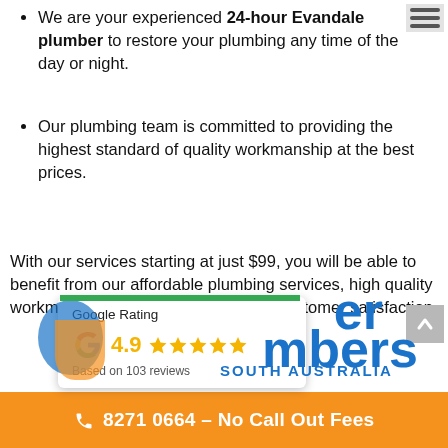We are your experienced 24-hour Evandale plumber to restore your plumbing any time of the day or night.
Our plumbing team is committed to providing the highest standard of quality workmanship at the best prices.
With our services starting at just $99, you will be able to benefit from our affordable plumbing services, high quality workmanship that guarantees 100% customer satisfaction.
[Figure (infographic): Google Rating card showing 4.9 stars based on 103 reviews, overlaid on a plumbing company logo with 'er', 'bers', 'SOUTH AUSTRALIA' text visible]
8271 0664 – No Call Out Fees